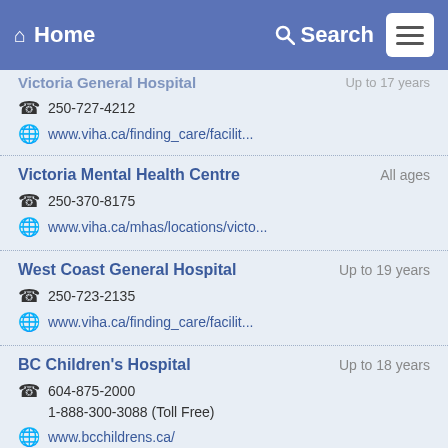Home  Search
Victoria General Hospital  Up to 17 years  250-727-4212  www.viha.ca/finding_care/facilit...
Victoria Mental Health Centre  All ages  250-370-8175  www.viha.ca/mhas/locations/victo...
West Coast General Hospital  Up to 19 years  250-723-2135  www.viha.ca/finding_care/facilit...
BC Children's Hospital  Up to 18 years  604-875-2000  1-888-300-3088 (Toll Free)  www.bcchildrens.ca/